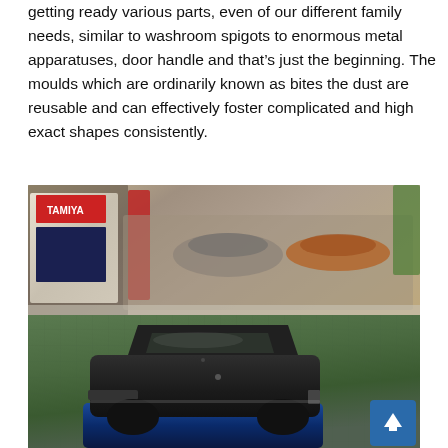getting ready various parts, even of our different family needs, similar to washroom spigots to enormous metal apparatuses, door handle and that's just the beginning. The moulds which are ordinarily known as bites the dust are reusable and can effectively foster complicated and high exact shapes consistently.
[Figure (photo): A workshop table scene showing model cars (die-cast scale models) on a green cutting mat. In the foreground is a dark/black model car body being worked on, with a blue model car part beneath it. In the background, multiple small model cars are visible, along with a Tamiya hobby product box on the left side, various hobby tools and materials.]